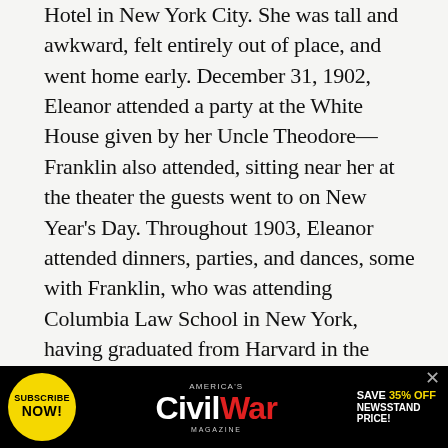Hotel in New York City. She was tall and awkward, felt entirely out of place, and went home early. December 31, 1902, Eleanor attended a party at the White House given by her Uncle Theodore—Franklin also attended, sitting near her at the theater the guests went to on New Year's Day. Throughout 1903, Eleanor attended dinners, parties, and dances, some with Franklin, who was attending Columbia Law School in New York, having graduated from Harvard in the spring of 1903. Their friendship grew and in October 1903, he proposed. Although Eleanor accepted, Franklin's mother, Sara Delano Roosevelt, asked them to keep the engagement private; if they felt the same about each other after a year, they could announce it. The couple reluctantly agreed and Eleanor began spending
[Figure (infographic): Advertisement banner for America's Civil War Magazine — black background with yellow circular 'SUBSCRIBE NOW!' badge on the left, magazine logo in center (CIVIL in white, War in red), and 'SAVE 35% OFF NEWSSTAND PRICE!' text in yellow and white on the right. An X close button appears top-right.]